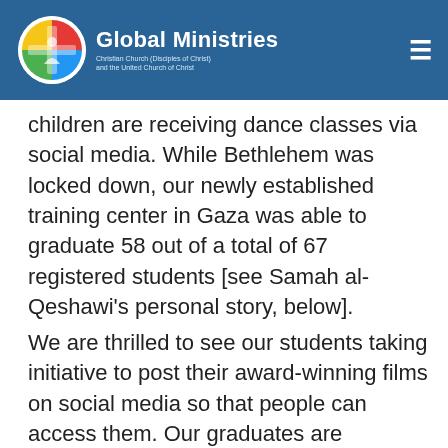Global Ministries — Christian Church (Disciples of Christ) and the United Church of Christ
children are receiving dance classes via social media. While Bethlehem was locked down, our newly established training center in Gaza was able to graduate 58 out of a total of 67 registered students [see Samah al-Qeshawi's personal story, below].
We are thrilled to see our students taking initiative to post their award-winning films on social media so that people can access them. Our graduates are producing new videos dealing with essential issues such as the environment, community, and a culture of life…